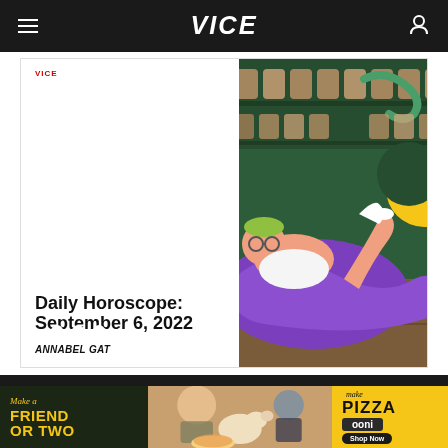VICE
[Figure (illustration): VICE article card showing 'Daily Horoscope: September 6, 2022' by Annabel Gat with colorful horoscope illustration of a person lying on a purple blanket in a witchy shop with snake and moon]
Daily Horoscope: September 6, 2022
ANNABEL GAT
[Figure (photo): Ooni pizza oven advertisement banner: 'Make a Friend Or Two' on dark background, center photo of people and dogs at picnic with pizza, right side yellow background with 'Make Pizza ooni Shop Now']